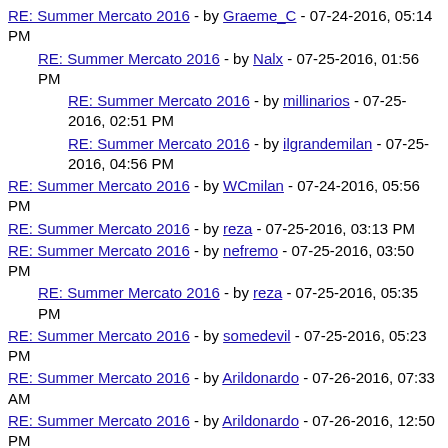RE: Summer Mercato 2016 - by Graeme_C - 07-24-2016, 05:14 PM
RE: Summer Mercato 2016 - by Nalx - 07-25-2016, 01:56 PM
RE: Summer Mercato 2016 - by millinarios - 07-25-2016, 02:51 PM
RE: Summer Mercato 2016 - by ilgrandemilan - 07-25-2016, 04:56 PM
RE: Summer Mercato 2016 - by WCmilan - 07-24-2016, 05:56 PM
RE: Summer Mercato 2016 - by reza - 07-25-2016, 03:13 PM
RE: Summer Mercato 2016 - by nefremo - 07-25-2016, 03:50 PM
RE: Summer Mercato 2016 - by reza - 07-25-2016, 05:35 PM
RE: Summer Mercato 2016 - by somedevil - 07-25-2016, 05:23 PM
RE: Summer Mercato 2016 - by Arildonardo - 07-26-2016, 07:33 AM
RE: Summer Mercato 2016 - by Arildonardo - 07-26-2016, 12:50 PM
RE: Summer Mercato 2016 - by am I Milan enough? - 07-26-2016, 02:15 PM
RE: Summer Mercato 2016 - by nefremo - 07-26-2016, 02:33 PM
RE: Summer Mercato 2016 - by millinarios - 07-26-2016,